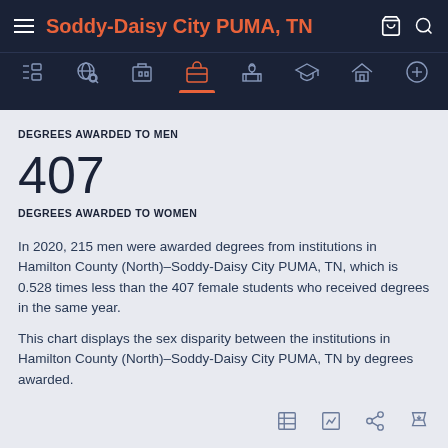Soddy-Daisy City PUMA, TN
DEGREES AWARDED TO MEN
407
DEGREES AWARDED TO WOMEN
In 2020, 215 men were awarded degrees from institutions in Hamilton County (North)–Soddy-Daisy City PUMA, TN, which is 0.528 times less than the 407 female students who received degrees in the same year.
This chart displays the sex disparity between the institutions in Hamilton County (North)–Soddy-Daisy City PUMA, TN by degrees awarded.